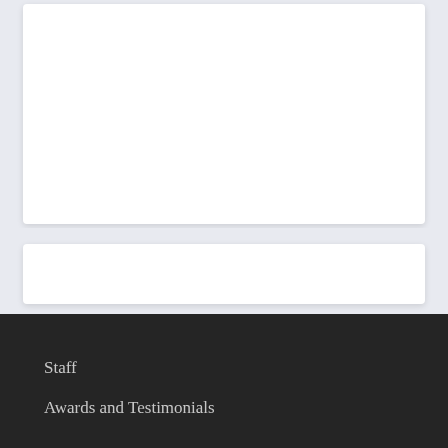[Figure (other): White card panel at top of page on light blue-gray background]
[Figure (other): White card panel below the top card on light blue-gray background]
Staff
Awards and Testimonials